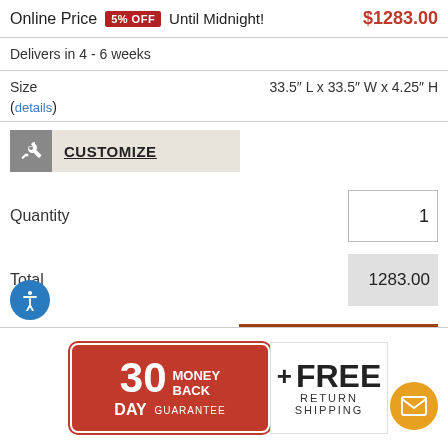Online Price 5% OFF Until Midnight! $1283.00
Delivers in 4 - 6 weeks
Size 33.5" L x 33.5" W x 4.25" H (details)
CUSTOMIZE
Quantity 1
Total 1283.00
ADD TO CART
[Figure (infographic): 30 Day Money Back Guarantee badge in red, plus Free Return Shipping text, with accessibility icon (blue circle) and email icon (orange circle)]